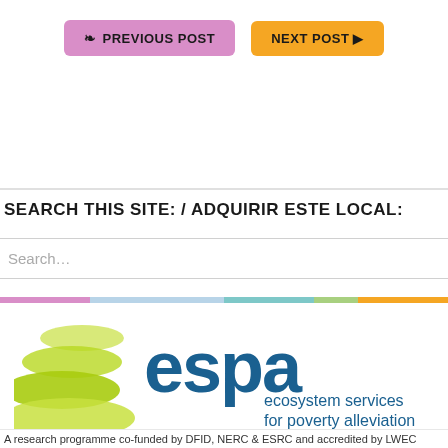[Figure (other): Navigation buttons: PREVIOUS POST (pink/purple) and NEXT POST (orange) with arrow]
SEARCH THIS SITE: / ADQUIRIR ESTE LOCAL:
Search...
[Figure (logo): ESPA - ecosystem services for poverty alleviation logo with green ellipses graphic]
A research programme co-funded by DFID, NERC & ESRC and accredited by LWEC